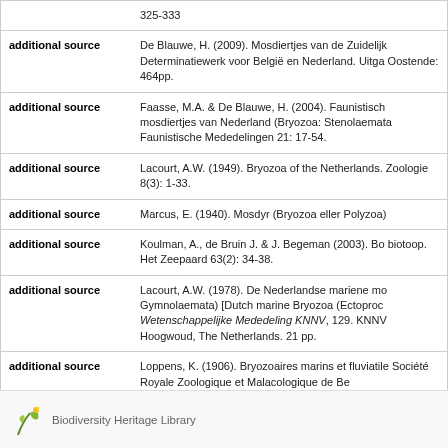| source type | reference |
| --- | --- |
|  | 325-333 |
| additional source | De Blauwe, H. (2009). Mosdiertjes van de Zuidelijk... Determinatiewerk voor België en Nederland. Uitga... Oostende: 464pp. |
| additional source | Faasse, M.A. & De Blauwe, H. (2004). Faunistisch... mosdiertjes van Nederland (Bryozoa: Stenolaemata... Faunistische Mededelingen 21: 17-54. |
| additional source | Lacourt, A.W. (1949). Bryozoa of the Netherlands... Zoologie 8(3): 1-33. |
| additional source | Marcus, E. (1940). Mosdyr (Bryozoa eller Polyzoa)... |
| additional source | Koulman, A., de Bruin J. & J. Begeman (2003). Bo... biotoop. Het Zeepaard 63(2): 34-38. |
| additional source | Lacourt, A.W. (1978). De Nederlandse mariene mo... Gymnolaemata) [Dutch marine Bryozoa (Ectoproc... Wetenschappelijke Mededeling KNNV, 129. KNNV... Hoogwoud, The Netherlands. 21 pp. |
| additional source | Loppens, K. (1906). Bryozoaires marins et fluviatile... Société Royale Zoologique et Malacologique de Be... |
[Figure (logo): Biodiversity Heritage Library logo with leaf/plant icon and text]